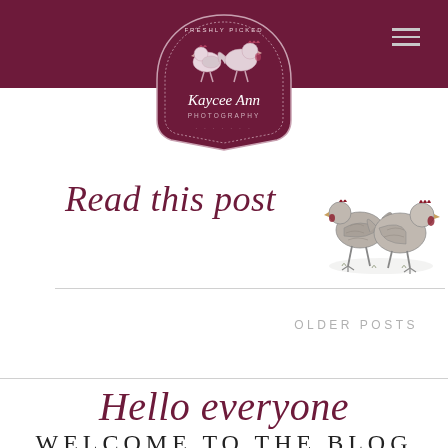Kaycee Ann Photography
[Figure (logo): Kaycee Ann Photography logo with two chickens illustration inside a dark maroon arch badge, text 'Freshly Picked' at top, 'Kaycee Ann Photography' in script below]
Read this post
[Figure (illustration): Vintage pen-and-ink style drawing of two chickens/hens standing together]
OLDER POSTS
Hello everyone
WELCOME TO THE BLOG